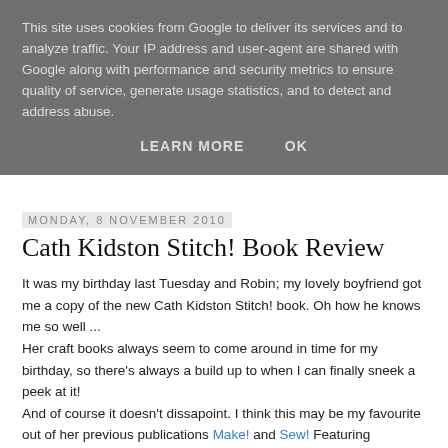This site uses cookies from Google to deliver its services and to analyze traffic. Your IP address and user-agent are shared with Google along with performance and security metrics to ensure quality of service, generate usage statistics, and to detect and address abuse.
LEARN MORE   OK
Monday, 8 November 2010
Cath Kidston Stitch! Book Review
It was my birthday last Tuesday and Robin; my lovely boyfriend got me a copy of the new Cath Kidston Stitch! book. Oh how he knows me so well ...
Her craft books always seem to come around in time for my birthday, so there's always a build up to when I can finally sneek a peek at it!
And of course it doesn't dissapoint. I think this may be my favourite out of her previous publications Make! and Sew! Featuring gorgeous styling and photography throughout, it will definately get you in the crafting spirit. Since making my tapestry wall hanging last year I have been searching for some fun designs to stitch, but had no luck as they all tend to be very dark